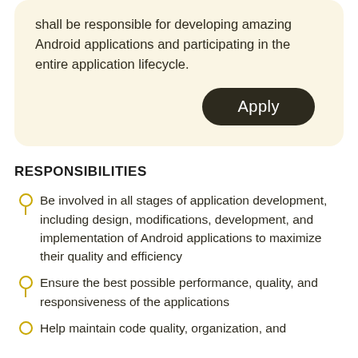shall be responsible for developing amazing Android applications and participating in the entire application lifecycle.
Apply
RESPONSIBILITIES
Be involved in all stages of application development, including design, modifications, development, and implementation of Android applications to maximize their quality and efficiency
Ensure the best possible performance, quality, and responsiveness of the applications
Help maintain code quality, organization, and